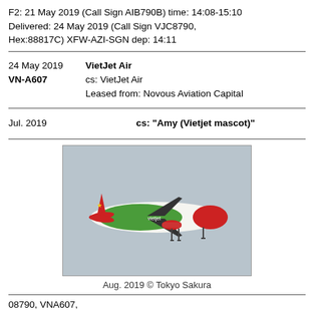F2: 21 May 2019 (Call Sign AIB790B) time: 14:08-15:10
Delivered: 24 May 2019 (Call Sign VJC8790,
Hex:88817C) XFW-AZI-SGN dep: 14:11
24 May 2019   VietJet Air
VN-A607   cs: VietJet Air
Leased from: Novous Aviation Capital
Jul. 2019   cs: "Amy (Vietjet mascot)"
[Figure (photo): VietJet Air Airbus A320/A321 aircraft (VN-A607) in flight with colorful livery — red nose/tail and tropical/green body with Vietjet mascot Amy livery, landing gear extended, light grey sky background.]
Aug. 2019 © Tokyo Sakura
08790, VNA607,